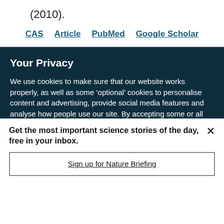(2010).
CAS  Article  PubMed  Google Scholar
Your Privacy
We use cookies to make sure that our website works properly, as well as some ‘optional’ cookies to personalise content and advertising, provide social media features and analyse how people use our site. By accepting some or all optional cookies you give consent to the processing of your personal data, including transfer to third parties, some in countries outside of the European Economic Area that do not offer the same data protection standards as the country where you live. You can decide which optional cookies to accept by clicking on ‘Manage Settings’, where you can
Get the most important science stories of the day, free in your inbox.
Sign up for Nature Briefing